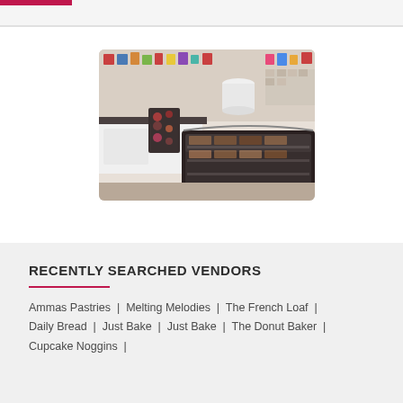[Figure (photo): Interior of a bakery shop showing a glass display case filled with pastries and baked goods, with decorated items and colorful products on the counter behind it.]
RECENTLY SEARCHED VENDORS
Ammas Pastries | Melting Melodies | The French Loaf | Daily Bread | Just Bake | Just Bake | The Donut Baker | Cupcake Noggins |